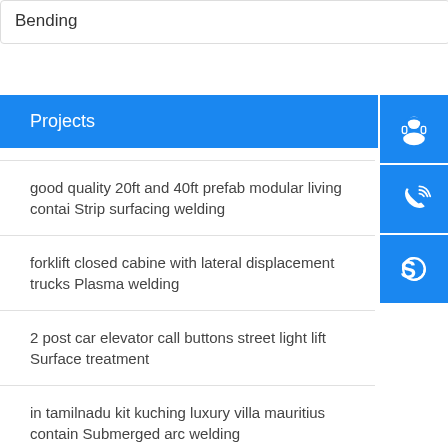Bending
Projects
good quality 20ft and 40ft prefab modular living contai Strip surfacing welding
forklift closed cabine with lateral displacement trucks Plasma welding
2 post car elevator call buttons street light lift Surface treatment
in tamilnadu kit kuching luxury villa mauritius contain Submerged arc welding
china cheap steel structure construction factory shed Grinding